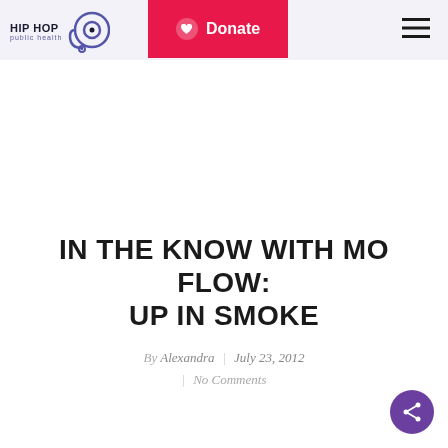Hip Hop Public Health | Donate | Navigation menu
IN THE KNOW WITH MO FLOW: UP IN SMOKE
By Alexandra | July 23, 2012
| No Comments